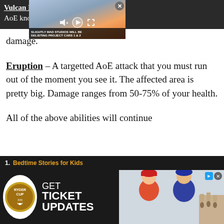Vulcan L... A huge AoE kno... re walls do not d... g for casters, ... damage.
[Figure (screenshot): Video ad overlay showing a supercar, with controls (mute, play, fullscreen) and title text 'SLIGHTLY MAD STUDIOS WILL BE DELISTING PROJECT CARS 1 & 2'. Close button (X) in top right.]
Eruption – A targetted AoE attack that you must run out of the moment you see it. The affected area is pretty big. Damage ranges from 50-75% of your health.
All of the above abilities will continue
[Figure (screenshot): Ryder Cup advertisement banner: 'GET TICKET UPDATES' with Ryder Cup logo on left and golfer photos on right.]